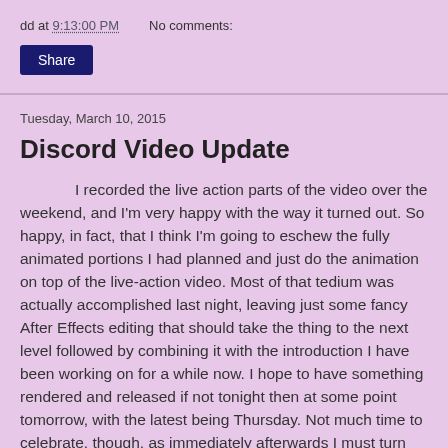dd at 9:13:00 PM    No comments:
Share
Tuesday, March 10, 2015
Discord Video Update
I recorded the live action parts of the video over the weekend, and I'm very happy with the way it turned out.  So happy, in fact, that I think I'm going to eschew the fully animated portions I had planned and just do the animation on top of the live-action video.  Most of that tedium was actually accomplished last night, leaving just some fancy After Effects editing that should take the thing to the next level followed by combining it with the introduction I have been working on for a while now.  I hope to have something rendered and released if not tonight then at some point tomorrow, with the latest being Thursday.  Not much time to celebrate, though, as immediately afterwards I must turn my